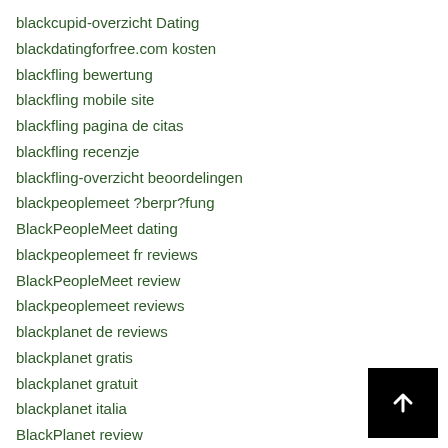blackcupid-overzicht Dating
blackdatingforfree.com kosten
blackfling bewertung
blackfling mobile site
blackfling pagina de citas
blackfling recenzje
blackfling-overzicht beoordelingen
blackpeoplemeet ?berpr?fung
BlackPeopleMeet dating
blackpeoplemeet fr reviews
BlackPeopleMeet review
blackpeoplemeet reviews
blackplanet de reviews
blackplanet gratis
blackplanet gratuit
blackplanet italia
BlackPlanet review
blackplanet reviews
BlackPlanet visitors